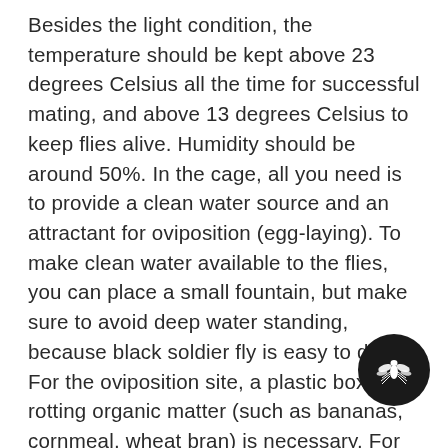Besides the light condition, the temperature should be kept above 23 degrees Celsius all the time for successful mating, and above 13 degrees Celsius to keep flies alive. Humidity should be around 50%. In the cage, all you need is to provide a clean water source and an attractant for oviposition (egg-laying). To make clean water available to the flies, you can place a small fountain, but make sure to avoid deep water standing, because black soldier fly is easy to drown. For the oviposition site, a plastic box with rotting organic matter (such as bananas, cornmeal, wheat bran) is necessary. For the best result, place a couple of thousand young larvae in the organic matter. The adult black soldier flies do not eat, the food is just for them to know where to lay eggs. Directly above the rotting material, using a rubber band to hold together 4-5 pieces of cardboard, the fertile females would lay eggs in the cardboard flutes. For industrial farms that harvest hundreds of grams of
[Figure (illustration): Black circle with a white fly (black soldier fly) icon/silhouette in the center]